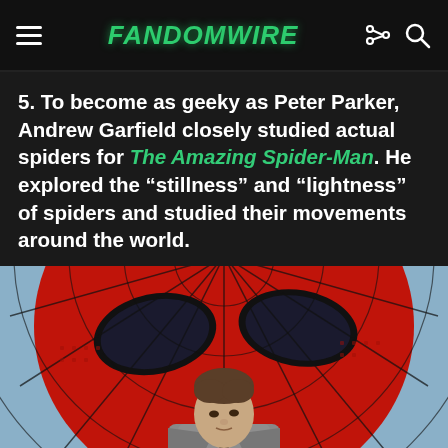FandomWire
5. To become as geeky as Peter Parker, Andrew Garfield closely studied actual spiders for The Amazing Spider-Man. He explored the “stillness” and “lightness” of spiders and studied their movements around the world.
[Figure (photo): Andrew Garfield standing in front of a large Spider-Man costume graphic, wearing a grey plaid suit with a dark tie. The Spider-Man mask with red and black web pattern fills the background.]